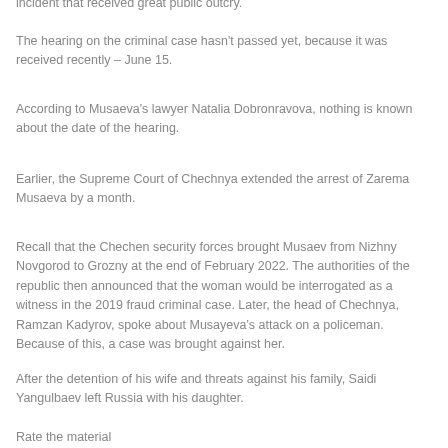incident that received great public outcry.
The hearing on the criminal case hasn't passed yet, because it was received recently – June 15.
According to Musaeva's lawyer Natalia Dobronravova, nothing is known about the date of the hearing.
Earlier, the Supreme Court of Chechnya extended the arrest of Zarema Musaeva by a month.
Recall that the Chechen security forces brought Musaev from Nizhny Novgorod to Grozny at the end of February 2022. The authorities of the republic then announced that the woman would be interrogated as a witness in the 2019 fraud criminal case. Later, the head of Chechnya, Ramzan Kadyrov, spoke about Musayeva's attack on a policeman. Because of this, a case was brought against her.
After the detention of his wife and threats against his family, Saidi Yangulbaev left Russia with his daughter.
Rate the material
Источник gif.ru